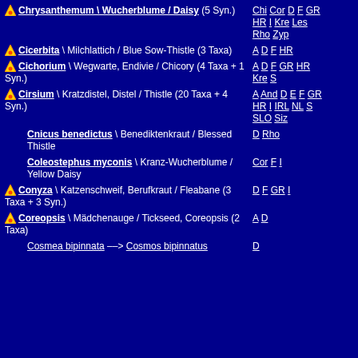Chrysanthemum \ Wucherblume / Daisy (5 Syn.) | Chi Cor D F GR HR I Kre Les Rho Zyp
Cicerbita \ Milchlattich / Blue Sow-Thistle (3 Taxa) | A D F HR
Cichorium \ Wegwarte, Endivie / Chicory (4 Taxa + 1 Syn.) | A D F GR HR Kre S
Cirsium \ Kratzdistel, Distel / Thistle (20 Taxa + 4 Syn.) | A And D E F GR HR I IRL NL S SLO Siz
Cnicus benedictus \ Benediktenkraut / Blessed Thistle | D Rho
Coleostephus myconis \ Kranz-Wucherblume / Yellow Daisy | Cor F I
Conyza \ Katzenschweif, Berufkraut / Fleabane (3 Taxa + 3 Syn.) | D F GR I
Coreopsis \ Mädchenauge / Tickseed, Coreopsis (2 Taxa) | A D
Cosmea bipinnata --> Cosmos bipinnatus | D